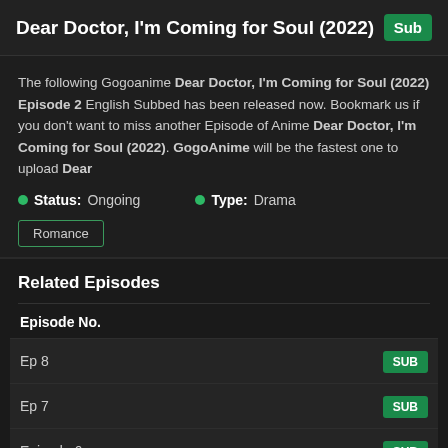Dear Doctor, I'm Coming for Soul (2022) Episo Sub
The following Gogoanime Dear Doctor, I'm Coming for Soul (2022) Episode 2 English Subbed has been released now. Bookmark us if you don't want to miss another Episode of Anime Dear Doctor, I'm Coming for Soul (2022). GogoAnime will be the fastest one to upload Dear
Status: Ongoing   Type: Drama
Romance
Related Episodes
| Episode No. |  |
| --- | --- |
| Ep 8 | SUB |
| Ep 7 | SUB |
| Episode 6 | SUB |